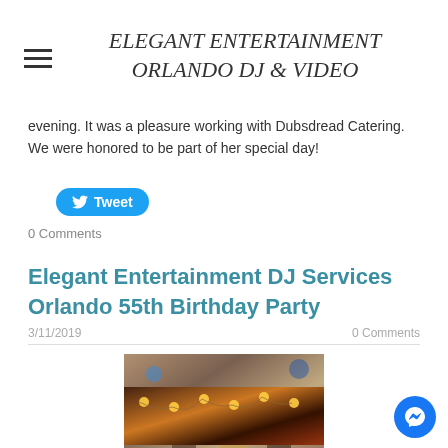ELEGANT ENTERTAINMENT ORLANDO DJ & VIDEO
evening. It was a pleasure working with Dubsdread Catering. We were honored to be part of her special day!
Tweet
0 Comments
Elegant Entertainment DJ Services Orlando 55th Birthday Party
3/11/2019
0 Comments
[Figure (photo): Party photo showing people dancing and celebrating at a birthday event, woman in yellow top visible]
[Figure (photo): Partial photo of party venue with string lights visible]